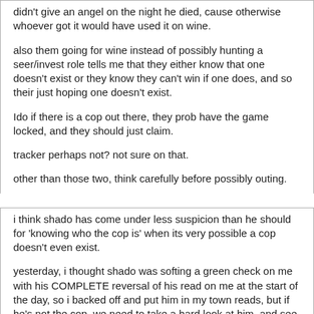didn't give an angel on the night he died, cause otherwise whoever got it would have used it on wine.
also them going for wine instead of possibly hunting a seer/invest role tells me that they either know that one doesn't exist or they know they can't win if one does, and so their just hoping one doesn't exist.
Ido if there is a cop out there, they prob have the game locked, and they should just claim.
tracker perhaps not? not sure on that.
other than those two, think carefully before possibly outing.
i think shado has come under less suspicion than he should for 'knowing who the cop is' when its very possible a cop doesn't even exist.
yesterday, i thought shado was softing a green check on me with his COMPLETE reversal of his read on me at the start of the day, so i backed off and put him in my town reads, but if he's not the cop, we need to take a hard look at him, and see if his whole 'should i shoot dummy' thing was him trying to get out of bussing his wolf partners.
TWG Mad Dummy
11-21-2016 10:01 AM
Re: TWG Ch.V.E. Heaven and earth arc- Day Thread